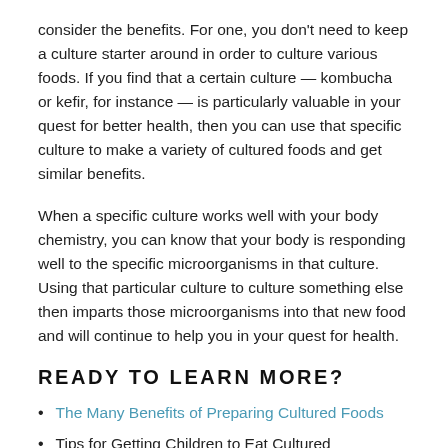consider the benefits. For one, you don't need to keep a culture starter around in order to culture various foods. If you find that a certain culture — kombucha or kefir, for instance — is particularly valuable in your quest for better health, then you can use that specific culture to make a variety of cultured foods and get similar benefits.
When a specific culture works well with your body chemistry, you can know that your body is responding well to the specific microorganisms in that culture. Using that particular culture to culture something else then imparts those microorganisms into that new food and will continue to help you in your quest for health.
READY TO LEARN MORE?
The Many Benefits of Preparing Cultured Foods
Tips for Getting Children to Eat Cultured